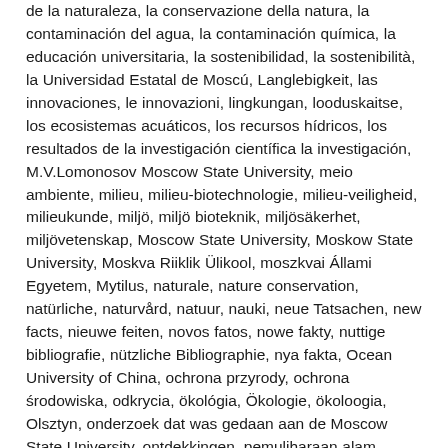de la naturaleza, la conservazione della natura, la contaminación del agua, la contaminación química, la educación universitaria, la sostenibilidad, la sostenibilità, la Universidad Estatal de Moscú, Langlebigkeit, las innovaciones, le innovazioni, lingkungan, looduskaitse, los ecosistemas acuáticos, los recursos hídricos, los resultados de la investigación científica la investigación, M.V.Lomonosov Moscow State University, meio ambiente, milieu, milieu-biotechnologie, milieu-veiligheid, milieukunde, miljö, miljö bioteknik, miljösäkerhet, miljövetenskap, Moscow State University, Moskow State University, Moskva Riiklik Ülikool, moszkvai Állami Egyetem, Mytilus, naturale, nature conservation, natürliche, naturvård, natuur, nauki, neue Tatsachen, new facts, nieuwe feiten, novos fatos, nowe fakty, nuttige bibliografie, nützliche Bibliographie, nya fakta, Ocean University of China, ochrona przyrody, ochrona środowiska, odkrycia, ökológia, Ökologie, ökoloogia, Olsztyn, onderzoek dat was gedaan aan de Moscow State University, ontdekkingen, pemuliharaan alam sekitar, pencemaran air, pencemaran kimia, pendidikan